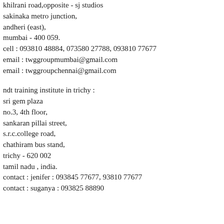khilrani road,opposite - sj studios
sakinaka metro junction,
andheri (east),
mumbai - 400 059.
cell : 093810 48884, 073580 27788, 093810 77677
email : twggroupmumbai@gmail.com
email : twggroupchennai@gmail.com
ndt training institute in trichy :
sri gem plaza
no.3, 4th floor,
sankaran pillai street,
s.r.c.college road,
chathiram bus stand,
trichy - 620 002
tamil nadu , india.
contact : jenifer : 093845 77677, 93810 77677
contact : suganya : 093825 88890